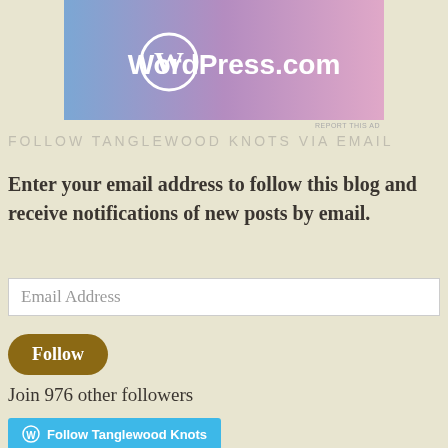[Figure (logo): WordPress.com banner advertisement with gradient background (blue to pink/purple) and white WordPress logo with text 'WordPress.com']
REPORT THIS AD
FOLLOW TANGLEWOOD KNOTS VIA EMAIL
Enter your email address to follow this blog and receive notifications of new posts by email.
Email Address
Follow
Join 976 other followers
Follow Tanglewood Knots